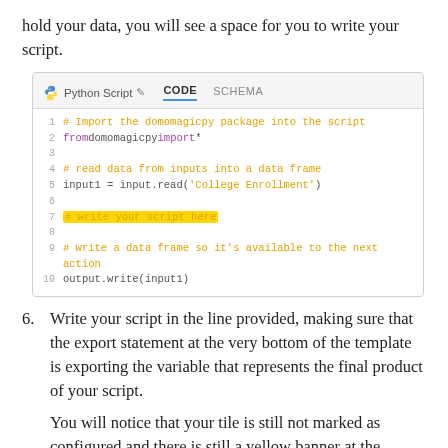hold your data, you will see a space for you to write your script.
[Figure (screenshot): Screenshot of a Python Script editor panel showing tabs 'CODE' and 'SCHEMA'. The CODE tab is active (underlined in blue). The code editor shows 10 lines of Python code with syntax highlighting. Line 7 is highlighted in yellow: '# write your script here'. The code imports domomagicpy, reads a College Enrollment dataset, and writes output.]
6. Write your script in the line provided, making sure that the export statement at the very bottom of the template is exporting the variable that represents the final product of your script.
You will notice that your tile is still not marked as configured and there is still a yellow banner at the